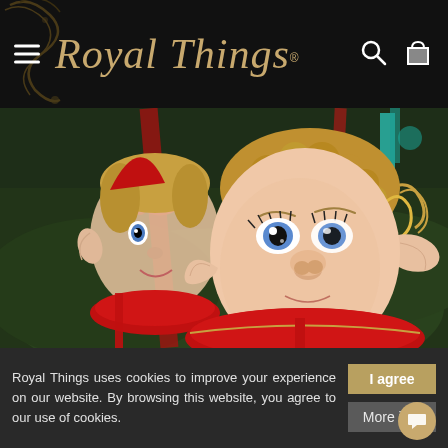[Figure (logo): Royal Things website navigation bar with hamburger menu, cursive gold logo text 'Royal Things' with registered trademark, search icon, and shopping bag icon on black background with decorative swirl]
[Figure (photo): Close-up photo of decorative elf/pixie Christmas ornament faces with blue eyes, blonde curly hair, pointed ears, and red glitter collars, surrounded by Christmas tree decorations in red, green, and gold]
Royal Things uses cookies to improve your experience on our website. By browsing this website, you agree to our use of cookies.